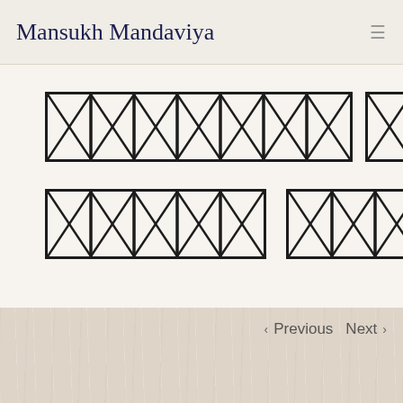Mansukh Mandaviya
[Figure (other): Two rows of blocked/redacted text rendered as X-patterned rectangles. First row has three groups of blocked characters followed by a colon. Second row has two groups of blocked characters.]
< Previous  Next >